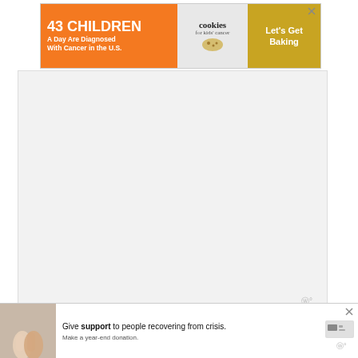[Figure (other): Advertisement banner: orange left section reading '43 CHILDREN A Day Are Diagnosed With Cancer in the U.S.', center section with 'cookies for kids cancer' logo, tan/gold right section reading 'Let's Get Baking'. X close button in top-right corner.]
[Figure (other): Gray advertisement placeholder block with watermark symbol in bottom-right corner.]
Also, when you start searching for the perfect floor bed, you’ll find that there are a lot of options out there. You may want to choose one that’s more stylish for your child’s room.
However, keep in mind that safety is a huge
[Figure (other): Bottom advertisement strip: left side shows photo of two people holding hands, center text reads 'Give support to people recovering from crisis. Make a year-end donation.' with payment icon on right. X close button. Moat watermark on right side.]
child is
id bed